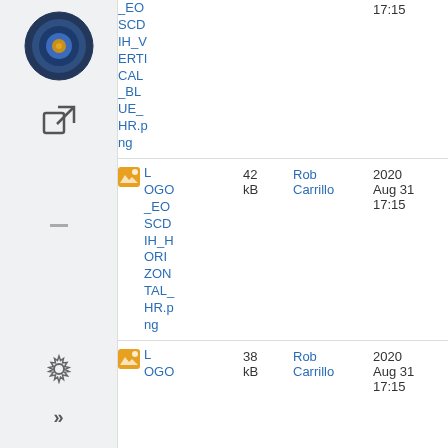[Figure (logo): Circular logo with dark blue and gold concentric rings]
[Figure (other): External link icon (square with arrow)]
| Name | Size | Author | Date Created | Date Modified |
| --- | --- | --- | --- | --- |
| LOGO_EOSCDIH_VERTICAL_BLUE_HR.png |  |  | 2020 Aug 31 17:15 | 2020 Aug 31 17:15 |
| LOGO_EOSCDIH_HORIZONTAL_HR.png | 42 kB | Rob Carrillo | 2020 Aug 31 17:15 | 2020 Aug 31 17:15 |
| LOGO_EO... | 38 kB | Rob Carrillo | 2020 Aug 31 17:15 | 2020 Aug 31 17:15 |